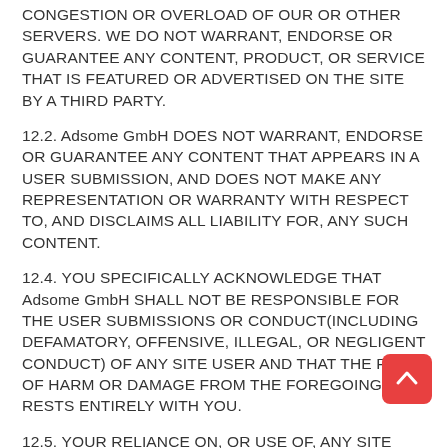CONGESTION OR OVERLOAD OF OUR OR OTHER SERVERS. WE DO NOT WARRANT, ENDORSE OR GUARANTEE ANY CONTENT, PRODUCT, OR SERVICE THAT IS FEATURED OR ADVERTISED ON THE SITE BY A THIRD PARTY.
12.2. Adsome GmbH DOES NOT WARRANT, ENDORSE OR GUARANTEE ANY CONTENT THAT APPEARS IN A USER SUBMISSION, AND DOES NOT MAKE ANY REPRESENTATION OR WARRANTY WITH RESPECT TO, AND DISCLAIMS ALL LIABILITY FOR, ANY SUCH CONTENT.
12.4. YOU SPECIFICALLY ACKNOWLEDGE THAT Adsome GmbH SHALL NOT BE RESPONSIBLE FOR THE USER SUBMISSIONS OR CONDUCT(INCLUDING DEFAMATORY, OFFENSIVE, ILLEGAL, OR NEGLIGENT CONDUCT) OF ANY SITE USER AND THAT THE RISK OF HARM OR DAMAGE FROM THE FOREGOING RESTS ENTIRELY WITH YOU.
12.5. YOUR RELIANCE ON, OR USE OF, ANY SITE